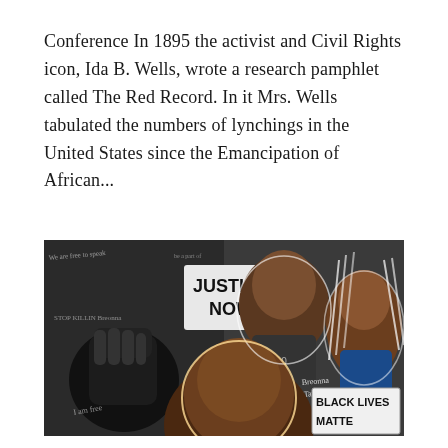Conference In 1895 the activist and Civil Rights icon, Ida B. Wells, wrote a research pamphlet called The Red Record. In it Mrs. Wells tabulated the numbers of lynchings in the United States since the Emancipation of African...
[Figure (illustration): A collage-style illustration featuring protest imagery including a raised Black fist, a 'JUSTICE NOW' protest sign, handwritten text, and portraits of Black individuals including figures representing George Floyd and Breonna Taylor, with a 'BLACK LIVES MATTER' sign visible.]